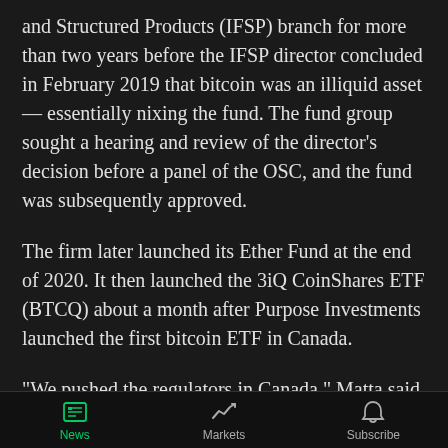and Structured Products (IFSP) branch for more than two years before the IFSP director concluded in February 2019 that bitcoin was an illiquid asset — essentially nixing the fund. The fund group sought a hearing and review of the director's decision before a panel of the OSC, and the fund was subsequently approved.
The firm later launched its Ether Fund at the end of 2020. It then launched the 3iQ CoinShares ETF (BTCQ) about a month after Purpose Investments launched the first bitcoin ETF in Canada.
“We pushed the regulators in Canada,” Matta said. “It’s put pressure on the regulators in the US and now more of the asset managers in the US are really pushing the
News | Markets | Subscribe